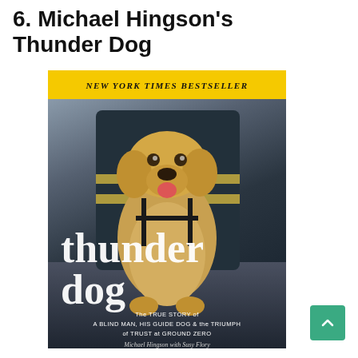6. Michael Hingson's Thunder Dog
[Figure (photo): Book cover of 'Thunder Dog' by Michael Hingson with Susy Flory. Features a yellow Labrador guide dog with a firefighter in the background. Yellow banner at top reads 'NEW YORK TIMES BESTSELLER'. Book title 'thunder dog' appears in large white serif font. Subtitle reads 'The TRUE STORY of A BLIND MAN, HIS GUIDE DOG & the TRIUMPH of TRUST at GROUND ZERO'. Author name 'Michael Hingson with Susy Flory' at bottom.]